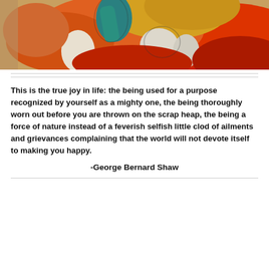[Figure (illustration): Colorful abstract/folk-art painting with orange, red, yellow, teal, and white shapes suggesting figures or forms]
This is the true joy in life: the being used for a purpose recognized by yourself as a mighty one, the being thoroughly worn out before you are thrown on the scrap heap, the being a force of nature instead of a feverish selfish little clod of ailments and grievances complaining that the world will not devote itself to making you happy.
-George Bernard Shaw